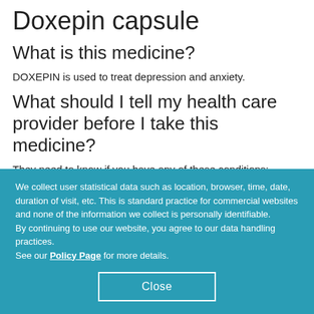Doxepin capsule
What is this medicine?
DOXEPIN is used to treat depression and anxiety.
What should I tell my health care provider before I take this medicine?
They need to know if you have any of these conditions:
bipolar disorder or schizophrenia
difficulty passing urine
We collect user statistical data such as location, browser, time, date, duration of visit, etc. This is standard practice for commercial websites and none of the information we collect is personally identifiable.
By continuing to use our website, you agree to our data handling practices.
See our Policy Page for more details.